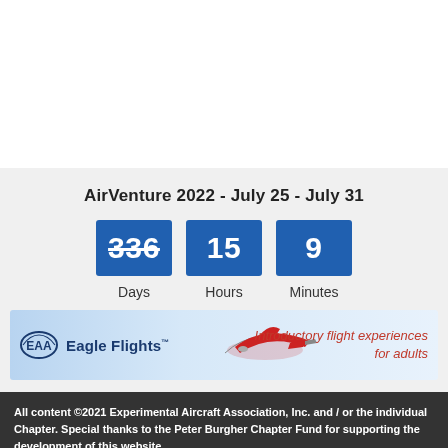AirVenture 2022 - July 25 - July 31
[Figure (infographic): Countdown timer showing 336 Days, 15 Hours, 9 Minutes until AirVenture 2022]
[Figure (infographic): EAA Eagle Flights banner with airplane image and text: Introductory flight experiences for adults]
All content ©2021 Experimental Aircraft Association, Inc. and / or the individual Chapter. Special thanks to the Peter Burgher Chapter Fund for supporting the development of this website.